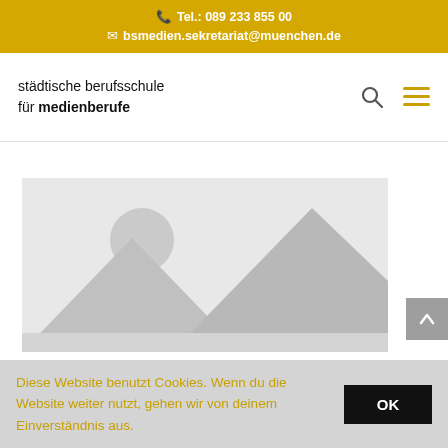Tel.: 089 233 855 00
bsmedien.sekretariat@muenchen.de
städtische berufsschule für medienberufe
[Figure (photo): Placeholder image with mountain/landscape silhouette and sun — image not loaded]
Diese Website benutzt Cookies. Wenn du die Website weiter nutzt, gehen wir von deinem Einverständnis aus.